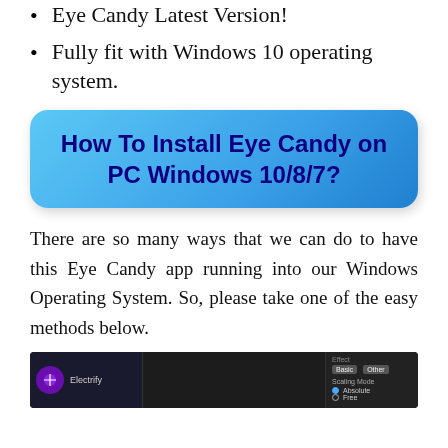Eye Candy Latest Version!
Fully fit with Windows 10 operating system.
How To Install Eye Candy on PC Windows 10/8/7?
There are so many ways that we can do to have this Eye Candy app running into our Windows Operating System. So, please take one of the easy methods below.
[Figure (screenshot): Screenshot of Eye Candy application interface showing Effect panel with Electrify option selected, dark UI with settings panel on right showing Scaling Mode options (Absolute/Free)]